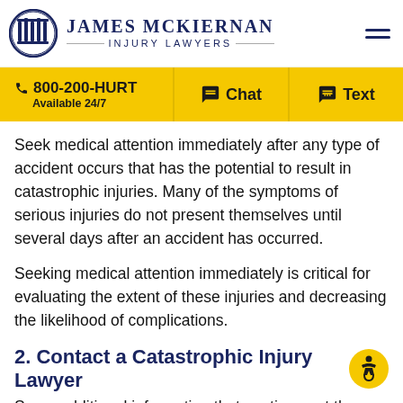[Figure (logo): James McKiernan Injury Lawyers logo with column icon in circle and firm name]
800-200-HURT
Available 24/7
Chat
Text
Seek medical attention immediately after any type of accident occurs that has the potential to result in catastrophic injuries. Many of the symptoms of serious injuries do not present themselves until several days after an accident has occurred.
Seeking medical attention immediately is critical for evaluating the extent of these injuries and decreasing the likelihood of complications.
2. Contact a Catastrophic Injury Lawyer